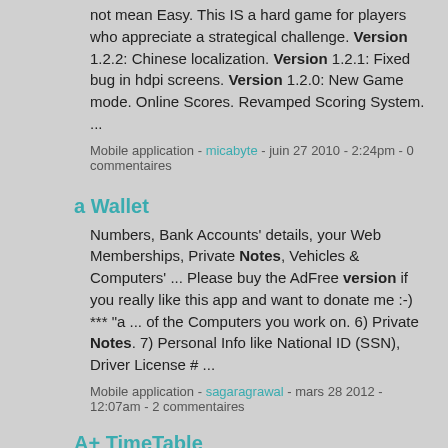not mean Easy. This IS a hard game for players who appreciate a strategical challenge. Version 1.2.2: Chinese localization. Version 1.2.1: Fixed bug in hdpi screens. Version 1.2.0: New Game mode. Online Scores. Revamped Scoring System. ...
Mobile application - micabyte - juin 27 2010 - 2:24pm - 0 commentaires
a Wallet
Numbers, Bank Accounts' details, your Web Memberships, Private Notes, Vehicles & Computers' ... Please buy the AdFree version if you really like this app and want to donate me :-) *** "a ... of the Computers you work on. 6) Private Notes. 7) Personal Info like National ID (SSN), Driver License # ...
Mobile application - sagaragrawal - mars 28 2012 - 12:07am - 2 commentaires
A+ TimeTable
Save/Restore schedule. Export timetable to JPEG image. Note: This version is ad-supported. *v1.3.14 New Widget ... *v2.0.0 Customize Overview colors. Save/Restore schedule. Export timetable to JPEG image. Note: This version is ad-supported. *v1.3.14 New Widget design. *v1.3.13 AM/PM hour format. First day Sunday ...
Mobile application - timosoft - nov. 5 2012 - 10:31am - 0 commentaires
A note